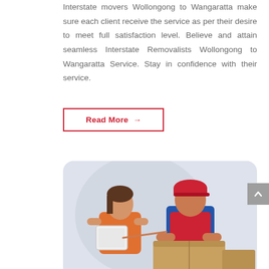Interstate movers Wollongong to Wangaratta make sure each client receive the service as per their desire to meet full satisfaction level. Believe and attain seamless Interstate Removalists Wollongong to Wangaratta Service. Stay in confidence with their service.
Read More →
[Figure (photo): Two movers — a woman in an orange shirt and a man in a red t-shirt and red cap with blue overalls — looking at a tablet, with cardboard boxes in the foreground, on a light grey/blue background.]